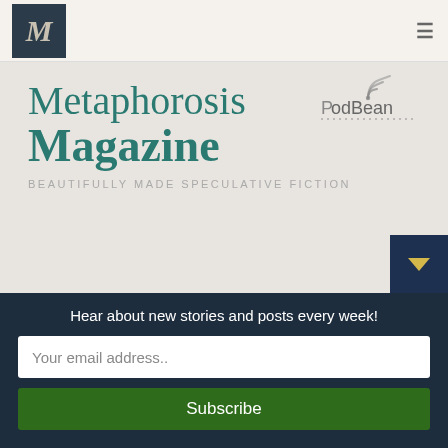[Figure (logo): Metaphorosis Magazine logo — dark navy square with italic serif M letter in cream/grey tone]
Metaphorosis Magazine
[Figure (logo): PodBean podcast platform logo with wifi arc icon above the text 'PodBean' and dotted underline]
BEAUTIFULLY MADE SPECULATIVE FICTION
[Figure (other): Dark teal square button with downward pointing yellow/gold triangle arrow]
Hear about new stories and posts every week!
Your email address..
Subscribe